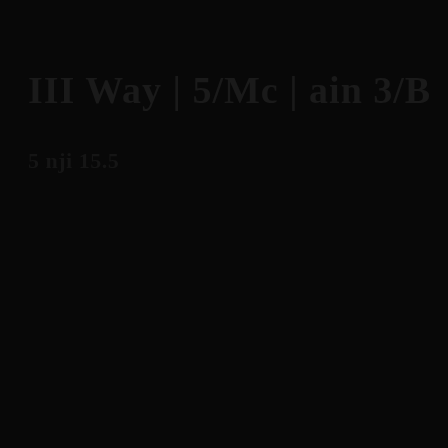III Way | 5/Mc | ain 3/B
5 nji 15.5